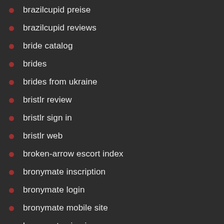brazilcupid preise
brazilcupid reviews
bride catalog
brides
brides from ukraine
bristlr review
bristlr sign in
bristlr web
broken-arrow escort index
bronymate inscription
bronymate login
bronymate mobile site
bronymate sign in
bronymate sito di incontri
Bronymate visitors